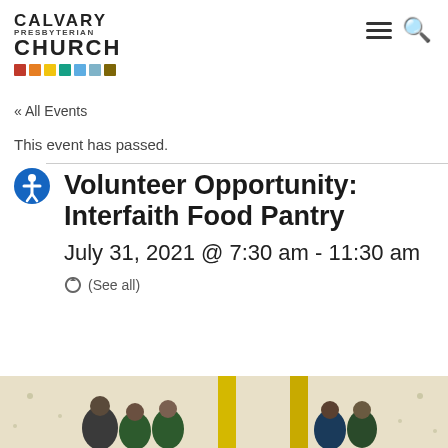CALVARY PRESBYTERIAN CHURCH
« All Events
This event has passed.
Volunteer Opportunity: Interfaith Food Pantry
July 31, 2021 @ 7:30 am - 11:30 am
(See all)
[Figure (photo): Group photo of volunteers at the Interfaith Food Pantry event]